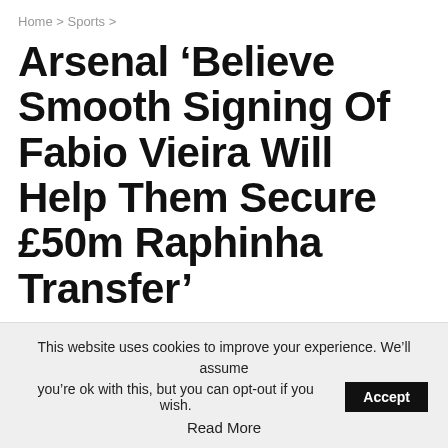Home > Sports >
Arsenal ‘Believe Smooth Signing Of Fabio Vieira Will Help Them Secure £50m Raphinha Transfer’
By Merry — On Jun 22, 2022   SPORTS
This website uses cookies to improve your experience. We’ll assume you’re ok with this, but you can opt-out if you wish. Accept Read More